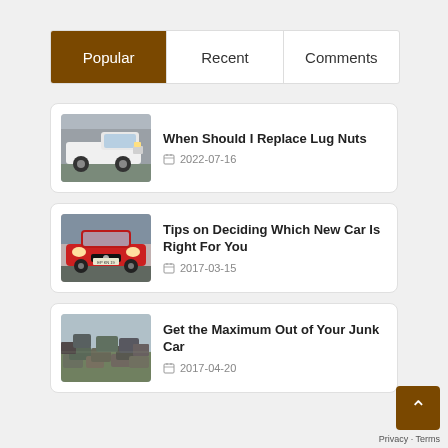Popular | Recent | Comments
[Figure (screenshot): White pickup truck (Chevrolet Silverado) parked in front of a building]
When Should I Replace Lug Nuts
2022-07-16
[Figure (screenshot): Red Nissan car front view on a street]
Tips on Deciding Which New Car Is Right For You
2017-03-15
[Figure (screenshot): Aerial view of a junkyard with many cars]
Get the Maximum Out of Your Junk Car
2017-04-20